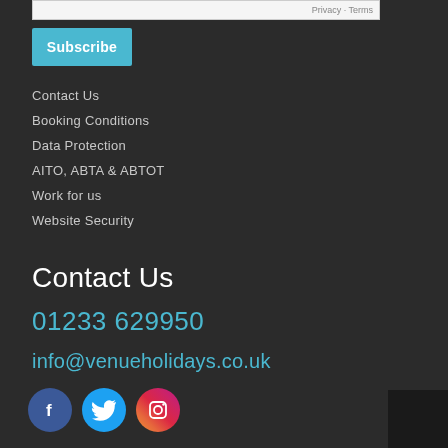Privacy · Terms
Subscribe
Contact Us
Booking Conditions
Data Protection
AITO, ABTA & ABTOT
Work for us
Website Security
Contact Us
01233 629950
info@venueholidays.co.uk
[Figure (illustration): Social media icons: Facebook, Twitter, Instagram]